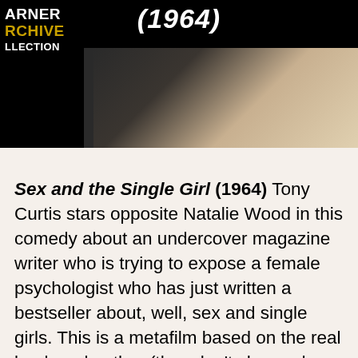[Figure (screenshot): Warner Archive Collection banner with movie year (1964) in bold italic white text on black background, Warner Archive Collection logo on left in white and gold, filmstrip/movie still on right]
Sex and the Single Girl (1964) Tony Curtis stars opposite Natalie Wood in this comedy about an undercover magazine writer who is trying to expose a female psychologist who has just written a bestseller about, well, sex and single girls. This is a metafilm based on the real book and author (they don't change her name). When I was watching it, I realized that this must be the original that inspired Down With Love (2003) with Renee Zellweger and Ewan McGregor. An idea that was seconded by this article from the